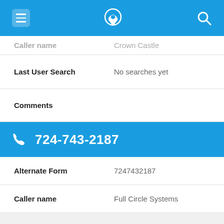App header bar with menu, phone-location icon, and search icon
Caller name  |  [truncated value]
Last User Search  |  No searches yet
Comments
724-743-2187
Alternate Form  |  7247432187
Caller name  |  Full Circle Systems
Last User Search  |  No searches yet
Comments